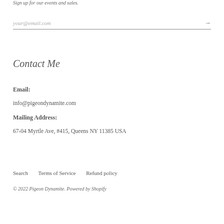Sign up for our events and sales.
your@email.com →
Contact Me
Email:
info@pigeondynamite.com
Mailing Address:
67-04 Myrtle Ave, #415, Queens NY 11385 USA
Search    Terms of Service    Refund policy
© 2022 Pigeon Dynamite. Powered by Shopify